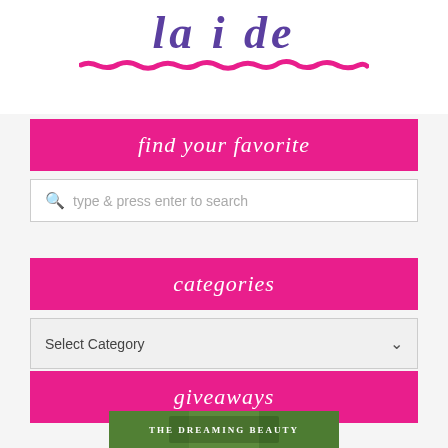[Figure (screenshot): Partial script/cursive logo text in purple with a hand-drawn pink underline stroke below it]
find your favorite
type & press enter to search
categories
Select Category
giveaways
[Figure (photo): Partial book cover image with text THE DREAMING BEAUTY on a nature background]